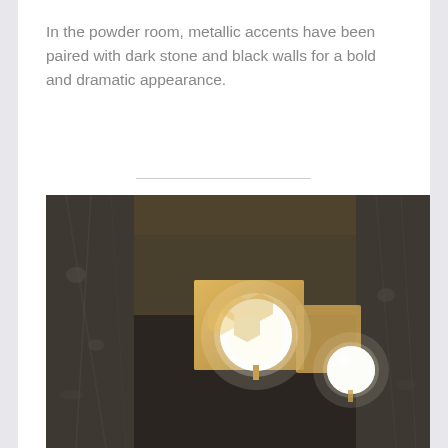In the powder room, metallic accents have been paired with dark stone and black walls for a bold and dramatic appearance.
[Figure (photo): Interior photo of a powder room showing a gold metallic wall sconce with two white globe lights mounted on a dark wall, with dark marble stone visible on the left side, reflected in a mirror.]